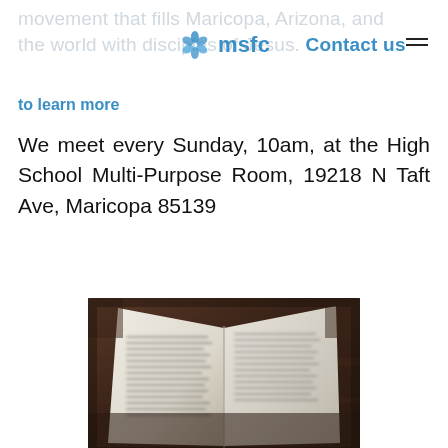movement that fills Maricopa, Arizona, and the world with disciples of Jesus. Contact us
to learn more
We meet every Sunday, 10am, at the High School Multi-Purpose Room, 19218 N Taft Ave, Maricopa 85139
[Figure (photo): Open Bible with text visible, photographed with a shallow depth of field, close-up shot on a brown wooden surface]